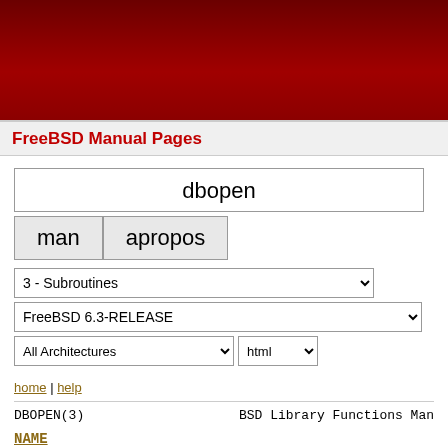FreeBSD Manual Pages
dbopen
man | apropos
3 - Subroutines
FreeBSD 6.3-RELEASE
All Architectures | html
home | help
DBOPEN(3)                                        BSD Library Functions Man
NAME
dbopen -- database access methods